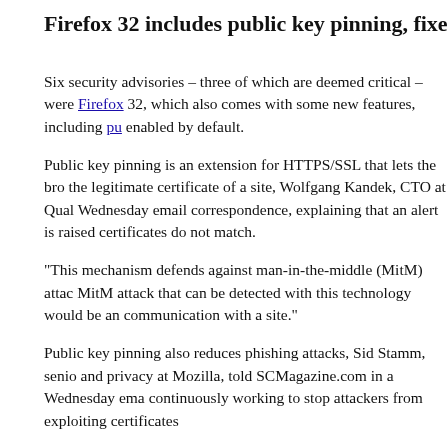Firefox 32 includes public key pinning, fixes critic…
Six security advisories – three of which are deemed critical – were Firefox 32, which also comes with some new features, including pu… enabled by default.
Public key pinning is an extension for HTTPS/SSL that lets the bro… the legitimate certificate of a site, Wolfgang Kandek, CTO at Qualy… Wednesday email correspondence, explaining that an alert is raised certificates do not match.
“This mechanism defends against man-in-the-middle (MitM) attac… MitM attack that can be detected with this technology would be an communication with a site.”
Public key pinning also reduces phishing attacks, Sid Stamm, senio… and privacy at Mozilla, told SCMagazine.com in a Wednesday ema… continuously working to stop attackers from exploiting certificates
“This can happen for many reasons, including a [certificate authori… violating our policies, or even mistakes in the issuance process,” S… main goal is to reduce risk present in the CA system, and pinning w… connections safer by providing stronger assurance that the site you one.”
Public key pinning in Firefox 32 is limited to Mozilla and Twitter…